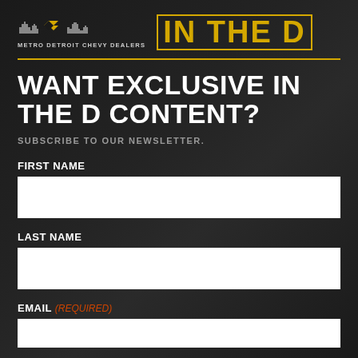[Figure (logo): Metro Detroit Chevy Dealers logo with skyline and bowtie emblem on left, 'IN THE D' text in gold outlined box on right]
WANT EXCLUSIVE IN THE D CONTENT?
SUBSCRIBE TO OUR NEWSLETTER.
FIRST NAME
LAST NAME
EMAIL (REQUIRED)